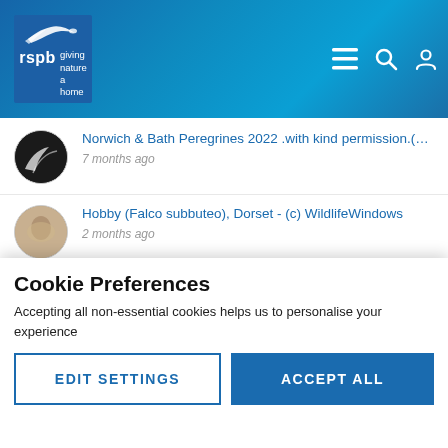[Figure (screenshot): RSPB website header with logo showing bird silhouette, 'rspb' text, and 'giving nature a home' tagline on blue cracked texture background. Top-right icons: hamburger menu, search, user account.]
Norwich & Bath Peregrines 2022 .with kind permission.(C...
7 months ago
Hobby (Falco subbuteo), Dorset - (c) WildlifeWindows
2 months ago
Cheshire nature reserve set to be lost to HS2
27 days ago
Cookie Preferences
Accepting all non-essential cookies helps us to personalise your experience
EDIT SETTINGS
ACCEPT ALL